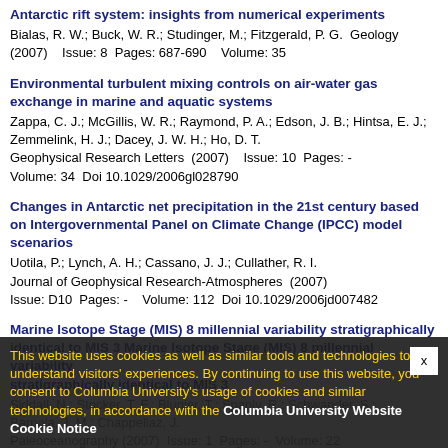Antarctic rift system: insights from numerical experiments
Bialas, R. W.; Buck, W. R.; Studinger, M.; Fitzgerald, P. G.  Geology (2007)    Issue: 8  Pages: 687-690    Volume: 35
Environmental turbulent mixing controls on air-water gas exchange in marine and aquatic systems
Zappa, C. J.; McGillis, W. R.; Raymond, P. A.; Edson, J. B.; Hintsa, E. J.; Zemmelink, H. J.; Dacey, J. W. H.; Ho, D. T.
Geophysical Research Letters  (2007)    Issue: 10  Pages: -  Volume: 34  Doi 10.1029/2006gl028790
Changes in Antarctic net precipitation in the 21st century based on Intergovernmental Panel on Climate Change (IPCC) model scenarios
Uotila, P.; Lynch, A. H.; Cassano, J. J.; Cullather, R. I.
Journal of Geophysical Research-Atmospheres  (2007)
Issue: D10  Pages: -    Volume: 112  Doi 10.1029/2006jd007482
Marine Isotope Stage (MIS) 8 millennial variability stratigraphically identical to MIS 3
Siddall, N.; Stocker, T. F.; Blunier, T.; Spanly, R.; Schwander, S.; Barnola, J. M.; Chappellaz, J.
Paleoceanography (2007)  Issue: 1  Pages: -  Volume: 22
Doi 10.1029/2006pa001345
This website uses cookies as well as similar tools and technologies to understand visitors' experiences. By continuing to use this website, you consent to Columbia University's usage of cookies and similar technologies, in accordance with the Columbia University Website Cookie Notice